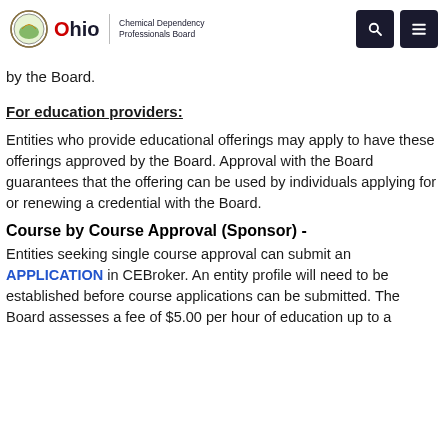Ohio Chemical Dependency Professionals Board
by the Board.
For education providers:
Entities who provide educational offerings may apply to have these offerings approved by the Board. Approval with the Board guarantees that the offering can be used by individuals applying for or renewing a credential with the Board.
Course by Course Approval (Sponsor) -
Entities seeking single course approval can submit an APPLICATION in CEBroker. An entity profile will need to be established before course applications can be submitted. The Board assesses a fee of $5.00 per hour of education up to a